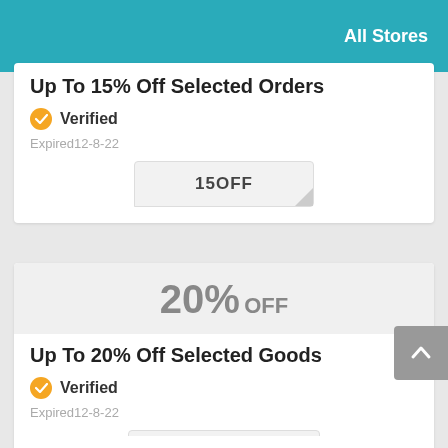All Stores
Up To 15% Off Selected Orders
Verified
Expired12-8-22
15OFF
20% OFF
Up To 20% Off Selected Goods
Verified
Expired12-8-22
TAKE20